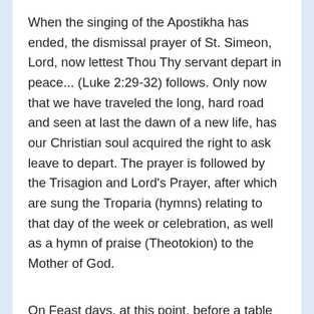When the singing of the Apostikha has ended, the dismissal prayer of St. Simeon, Lord, now lettest Thou Thy servant depart in peace... (Luke 2:29-32) follows. Only now that we have traveled the long, hard road and seen at last the dawn of a new life, has our Christian soul acquired the right to ask leave to depart. The prayer is followed by the Trisagion and Lord's Prayer, after which are sung the Troparia (hymns) relating to that day of the week or celebration, as well as a hymn of praise (Theotokion) to the Mother of God.
On Feast days, at this point, before a table on which have been placed five loaves of bread and three vessels one with wheat, one with wine, and one w... the Priest makes the Sign of the Cross over the lo... and prays that the Lord may bless and multiply them. In...